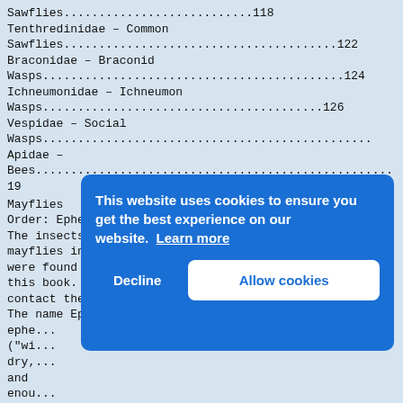Sawflies...........................118
Tenthredinidae – Common Sawflies.......................................122
Braconidae – Braconid Wasps...........................................124
Ichneumonidae – Ichneumon Wasps........................................126
Vespidae – Social Wasps...............................................
Apidae – Bees......................................................... 19
Mayflies
Order: Ephemeroptera – Mayflies
The insects in this order are commonly known as mayflies in English. No Inuktitut names were found for this order during the research for this book. If you know of any, please contact the Nunavut Teaching and Learning Centre. The name Ephemeroptera comes from the Greek roots ephe... ("short life") and pteron ("wi... dry, and ... enou... arou... can the leau... wing... subi... subimagos quickly moult one more
This website uses cookies to ensure you get the best experience on our website.  Learn more
Decline
Allow cookies